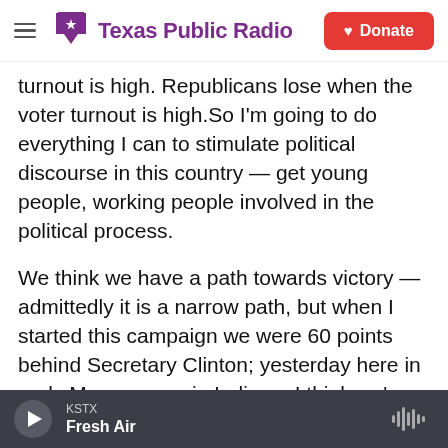Texas Public Radio — Donate
turnout is high. Republicans lose when the voter turnout is high.So I'm going to do everything I can to stimulate political discourse in this country — get young people, working people involved in the political process.
We think we have a path towards victory — admittedly it is a narrow path, but when I started this campaign we were 60 points behind Secretary Clinton; yesterday here in early May we won in Indiana. I think we've got some more good victories coming — so we are in this race until the very last vote is cast.
KSTX Fresh Air